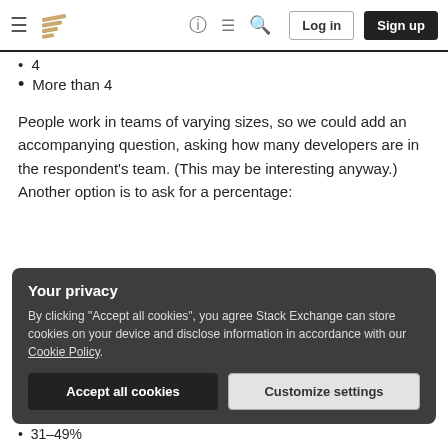Stack Exchange navigation bar with Log in and Sign up buttons
4
More than 4
People work in teams of varying sizes, so we could add an accompanying question, asking how many developers are in the respondent's team. (This may be interesting anyway.) Another option is to ask for a percentage:
What percentage of the developers in your team are women?
Your privacy
By clicking "Accept all cookies", you agree Stack Exchange can store cookies on your device and disclose information in accordance with our Cookie Policy.
Accept all cookies   Customize settings
31–49%